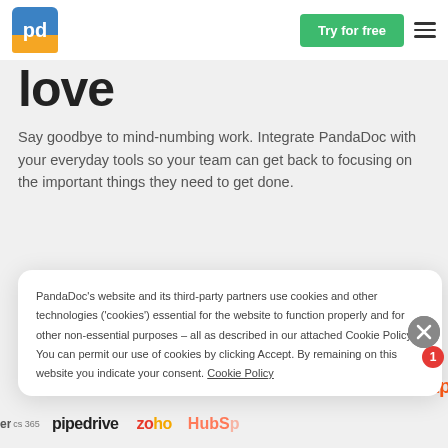[Figure (logo): PandaDoc logo - white/blue/yellow square with 'pd' letters]
[Figure (other): Green 'Try for free' button and hamburger menu icon in navbar]
love
Say goodbye to mind-numbing work. Integrate PandaDoc with your everyday tools so your team can get back to focusing on the important things they need to get done.
See all integrations →
PandaDoc's website and its third-party partners use cookies and other technologies ('cookies') essential for the website to function properly and for other non-essential purposes – all as described in our attached Cookie Policy. You can permit our use of cookies by clicking Accept. By remaining on this website you indicate your consent. Cookie Policy
[Figure (logo): Partial integration logos at bottom: Microsoft 365, pipedrive, Zoho, HubSpot, Zapier partial logos]
[Figure (other): Red notification badge with number 1]